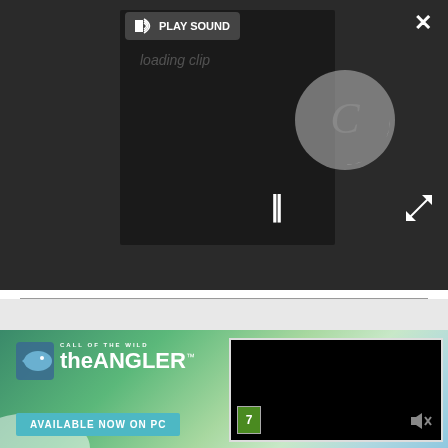[Figure (screenshot): Dark video player overlay with a spinning loading indicator (letter C in a circle), pause button (||), PLAY SOUND button with speaker icon, close button (X) in top right, and expand button (arrows) in bottom right]
[Figure (screenshot): Advertisement banner for 'Call of the Wild: theANGLER' game. Shows forest/lake background, game logo, 'AVAILABLE NOW ON PC' teal button, and a black video thumbnail with rating 7 badge and muted speaker icon]